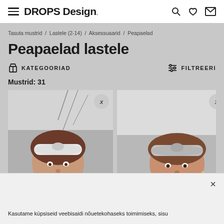DROPS Design
Tasuta mustrid / Lastele (2-14) / Aksessuaarid / Peapaelad
Peapaelad lastele
KATEGOORIAD    FILTREERI
Mustrid: 31
[Figure (photo): Child wearing a white twisted knit headband outdoors in winter]
[Figure (photo): Child wearing a grey twisted knit headband outdoors in winter]
Kasutame küpsiseid veebisaidi nõuetekohaseks toimimiseks, sisu